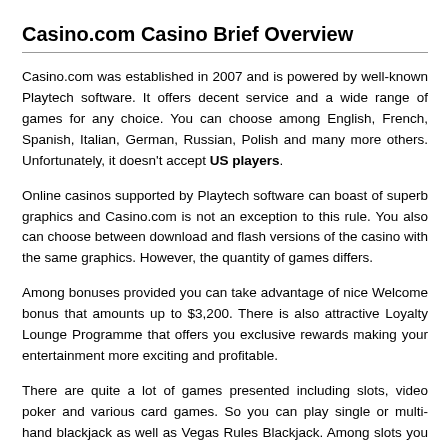Casino.com Casino Brief Overview
Casino.com was established in 2007 and is powered by well-known Playtech software. It offers decent service and a wide range of games for any choice. You can choose among English, French, Spanish, Italian, German, Russian, Polish and many more others. Unfortunately, it doesn't accept US players.
Online casinos supported by Playtech software can boast of superb graphics and Casino.com is not an exception to this rule. You also can choose between download and flash versions of the casino with the same graphics. However, the quantity of games differs.
Among bonuses provided you can take advantage of nice Welcome bonus that amounts up to $3,200. There is also attractive Loyalty Lounge Programme that offers you exclusive rewards making your entertainment more exciting and profitable.
There are quite a lot of games presented including slots, video poker and various card games. So you can play single or multi-hand blackjack as well as Vegas Rules Blackjack. Among slots you can play classic, bonus or progressive jackpot games. Playtech also offers you to play slots based on movies such as Fantastic Four, Blade, Iron Man and many more others.
You can choose among such payment methods as Visa, MasterCard, InstaDebit, Skrill, Wire Transfer, Click2Pay, ClickandBuy, EcoCard, Delta and many more others. The minimum maximum withdrawal is $30,000 per month.